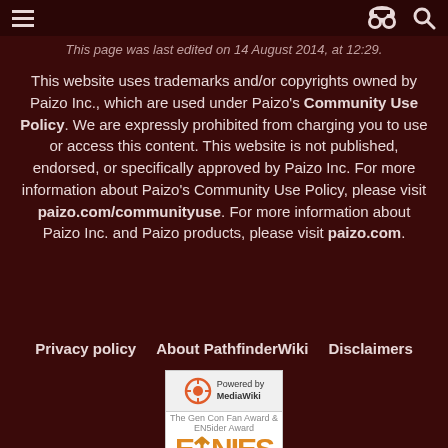This page was last edited on 14 August 2014, at 12:29.
This website uses trademarks and/or copyrights owned by Paizo Inc., which are used under Paizo's Community Use Policy. We are expressly prohibited from charging you to use or access this content. This website is not published, endorsed, or specifically approved by Paizo Inc. For more information about Paizo's Community Use Policy, please visit paizo.com/communityuse. For more information about Paizo Inc. and Paizo products, please visit paizo.com.
Privacy policy   About PathfinderWiki   Disclaimers
[Figure (logo): Powered by MediaWiki badge and ENnies Gold 2012 award badge]